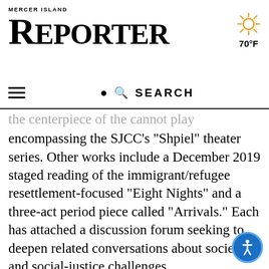MERCER ISLAND REPORTER
the centerpiece of the cannot play encompassing the SJCC’s “Shpiel” theater series. Other works include a December 2019 staged reading of the immigrant/refugee resettlement-focused “Eight Nights” and a three-act period piece called “Arrivals.” Each has attached a discussion forum seeking to deepen related conversations about societal and social-justice challenges.
“The Good Adoptee” will be bookended by a Question and Answer session with Bachner, Palmer and adoption experts. Lavitt said that currently the SJCC is trying to build a theater audience on Mercer Island.